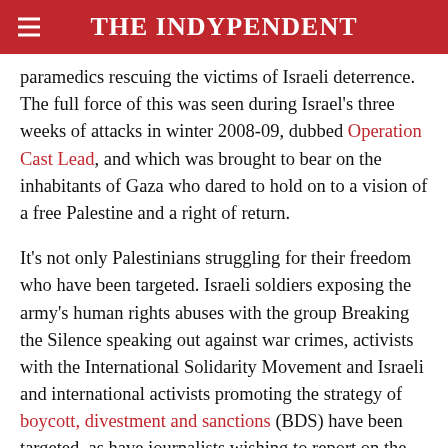THE INDYPENDENT
paramedics rescuing the victims of Israeli deterrence. The full force of this was seen during Israel's three weeks of attacks in winter 2008-09, dubbed Operation Cast Lead, and which was brought to bear on the inhabitants of Gaza who dared to hold on to a vision of a free Palestine and a right of return.
It's not only Palestinians struggling for their freedom who have been targeted. Israeli soldiers exposing the army's human rights abuses with the group Breaking the Silence speaking out against war crimes, activists with the International Solidarity Movement and Israeli and international activists promoting the strategy of boycott, divestment and sanctions (BDS) have been targeted, as have journalists wishing to report on the flotilla. They have been subjected to the policy of